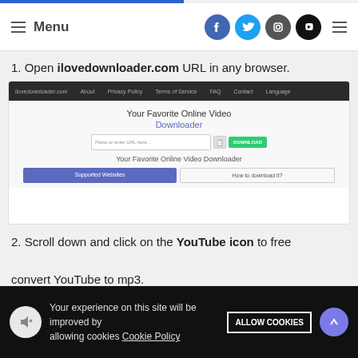Menu
1. Open ilovedownloader.com URL in any browser.
[Figure (screenshot): Screenshot of ilovedownloader.com website showing navigation bar, 'Your Favorite Online Video Downloader' heading, URL input bar with green DOWNLOAD button, and bottom links for Supported Websites.]
2. Scroll down and click on the YouTube icon to free convert YouTube to mp3.
[Figure (screenshot): Partial screenshot showing 'Your Favorite Online Video Downloader' text]
Your experience on this site will be improved by allowing cookies Cookie Policy ALLOW COOKIES